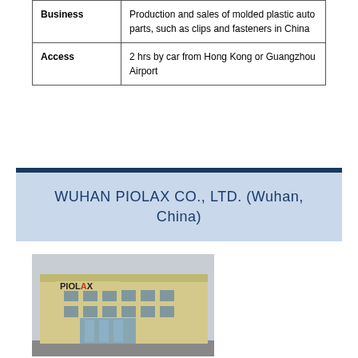| Business | Production and sales of molded plastic auto parts, such as clips and fasteners in China |
| Access | 2 hrs by car from Hong Kong or Guangzhou Airport |
WUHAN PIOLAX CO., LTD. (Wuhan, China)
[Figure (photo): Exterior photo of Wuhan Piolax Co., Ltd. facility — a beige industrial building with PIOLAX signage and glass entrance]